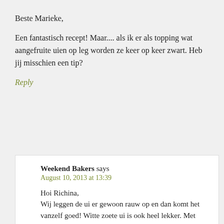Beste Marieke,
Een fantastisch recept! Maar.... als ik er als topping wat aangefruite uien op leg worden ze keer op keer zwart. Heb jij misschien een tip?
Reply
Weekend Bakers says
August 10, 2013 at 13:39
Hoi Richina,
Wij leggen de ui er gewoon rauw op en dan komt het vanzelf goed! Witte zoete ui is ook heel lekker. Met pizza doen we dit ook zo.